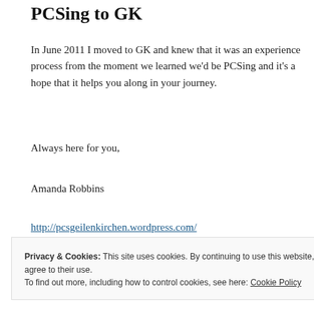PCSing to GK
In June 2011 I moved to GK and knew that it was an experience process from the moment we learned we'd be PCSing and it's a hope that it helps you along in your journey.
Always here for you,
Amanda Robbins
http://pcsgeilenkirchen.wordpress.com/
While we hope you find the information on this blog is helpful point out some other resources that can fill in the gaps.
Privacy & Cookies: This site uses cookies. By continuing to use this website, you agree to their use. To find out more, including how to control cookies, see here: Cookie Policy
Close and accept